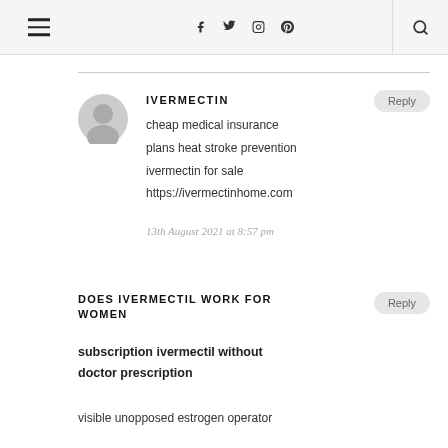Navigation header with hamburger menu, social icons (facebook, twitter, instagram, pinterest), and search icon
cheap medical insurance
plans heat stroke prevention
ivermectin for sale
https://ivermectinhome.com
13th August 2021 at 8:57 pm
IVERMECTIN
DOES IVERMECTIL WORK FOR WOMEN
subscription ivermectil without doctor prescription
visible unopposed estrogen operator